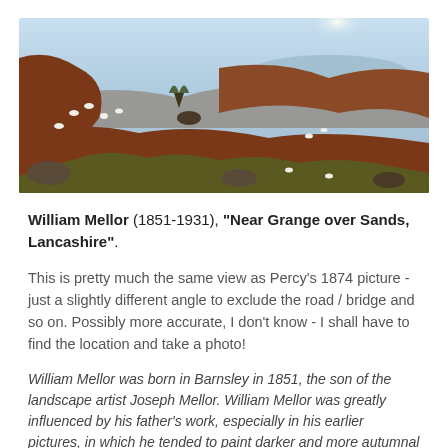[Figure (illustration): Oil painting of a hilly landscape near Grange over Sands, Lancashire. Rolling hills with sheep grazing, rocks, autumnal reddish-brown tones, a glimpse of water and coastline in the background under a bright sky.]
William Mellor (1851-1931), "Near Grange over Sands, Lancashire".
This is pretty much the same view as Percy's 1874 picture - just a slightly different angle to exclude the road / bridge and so on. Possibly more accurate, I don't know - I shall have to find the location and take a photo!
William Mellor was born in Barnsley in 1851, the son of the landscape artist Joseph Mellor. William Mellor was greatly influenced by his father's work, especially in his earlier pictures, in which he tended to paint darker and more autumnal scenes. William Mellor travelled widely and was inspired by the beautiful scenery of his native Yorkshire, North Wales and...